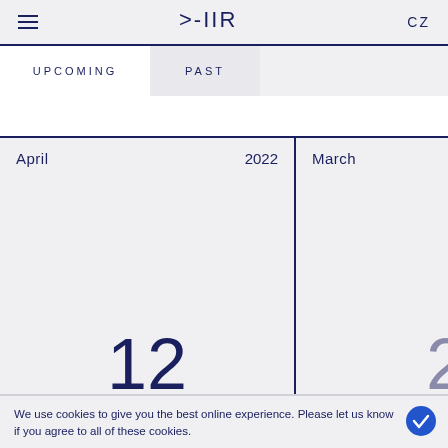IIR CZ
UPCOMING
PAST
April 2022
12
March
2
Subscribe
We use cookies to give you the best online experience. Please let us know if you agree to all of these cookies.